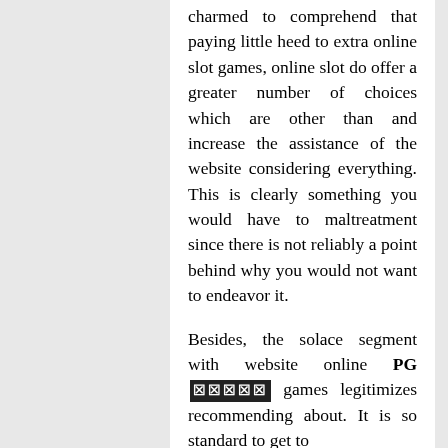charmed to comprehend that paying little heed to extra online slot games, online slot do offer a greater number of choices which are other than and increase the assistance of the website considering everything. This is clearly something you would have to maltreatment since there is not reliably a point behind why you would not want to endeavor it.

Besides, the solace segment with website online PG [symbols] games legitimizes recommending about. It is so standard to get to